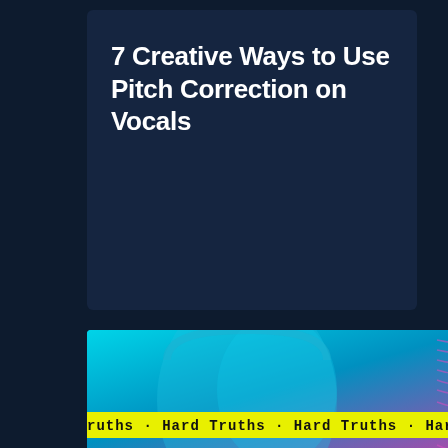7 Creative Ways to Use Pitch Correction on Vocals
[Figure (photo): A blue-tinted photo of a person singing into a microphone, overlaid with colorful sound wave patterns in blue, cyan, pink and purple. A yellow banner strip runs horizontally across the middle reading 'Truths · Hard Truths · Hard Truths · Hard T']